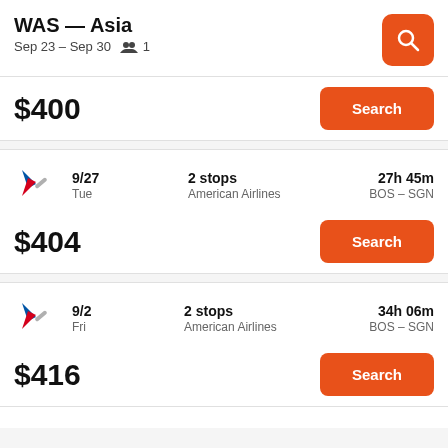WAS — Asia
Sep 23 – Sep 30  👥 1
[Figure (screenshot): Orange search icon button in top right corner]
$400
[Figure (other): Search button]
[Figure (logo): American Airlines logo]
9/27 Tue  2 stops American Airlines  27h 45m BOS – SGN
$404
[Figure (other): Search button]
[Figure (logo): American Airlines logo]
9/2 Fri  2 stops American Airlines  34h 06m BOS – SGN
$416
[Figure (other): Search button]